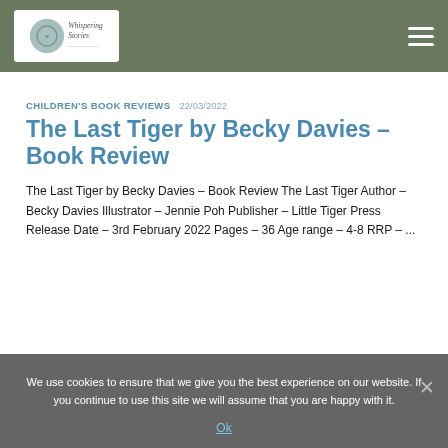Whispering Stories [logo] | hamburger menu
CHILDREN'S BOOK REVIEWS  22/03/2022
The Last Tiger by Becky Davies – Book Review
The Last Tiger by Becky Davies – Book Review The Last Tiger Author – Becky Davies Illustrator – Jennie Poh Publisher – Little Tiger Press Release Date – 3rd February 2022 Pages – 36 Age range – 4-8 RRP – ...
We use cookies to ensure that we give you the best experience on our website. If you continue to use this site we will assume that you are happy with it.
Ok